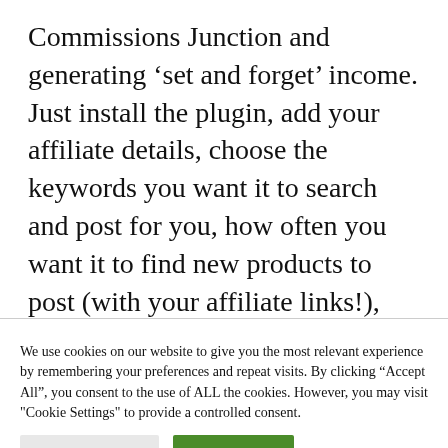Commissions Junction and generating ‘set and forget’ income. Just install the plugin, add your affiliate details, choose the keywords you want it to search and post for you, how often you want it to find new products to post (with your affiliate links!), and let it run automatically. It includes a social share module with automated product posting to your social media accounts and
We use cookies on our website to give you the most relevant experience by remembering your preferences and repeat visits. By clicking “Accept All”, you consent to the use of ALL the cookies. However, you may visit "Cookie Settings" to provide a controlled consent.